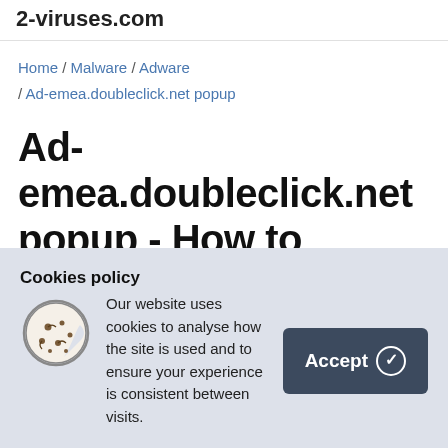2-viruses.com
Home / Malware / Adware / Ad-emea.doubleclick.net popup
Ad-emea.doubleclick.net popup - How to remove
July 13, 2016 By Giedrius Majauskas
Ad-emea.doubleclick.net popup facts
Type: Adware
Cookies policy
Our website uses cookies to analyse how the site is used and to ensure your experience is consistent between visits.